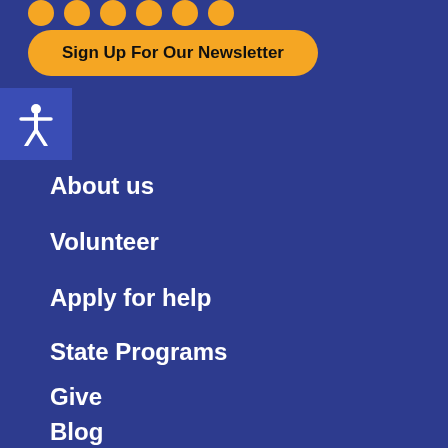[Figure (other): Row of orange circular social media icons at the top of the page]
Sign Up For Our Newsletter
[Figure (other): White accessibility person icon on blue square background]
About us
Volunteer
Apply for help
State Programs
Give
Blog
National Partners